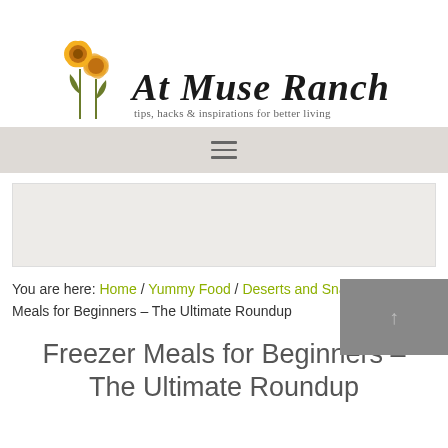At Muse Ranch – tips, hacks & inspirations for better living
[Figure (logo): At Muse Ranch blog logo with orange poppy flowers and script text]
☰ (hamburger menu icon)
[Figure (other): Advertisement placeholder block]
You are here: Home / Yummy Food / Deserts and Snacks / Freezer Meals for Beginners – The Ultimate Roundup
Freezer Meals for Beginners – The Ultimate Roundup